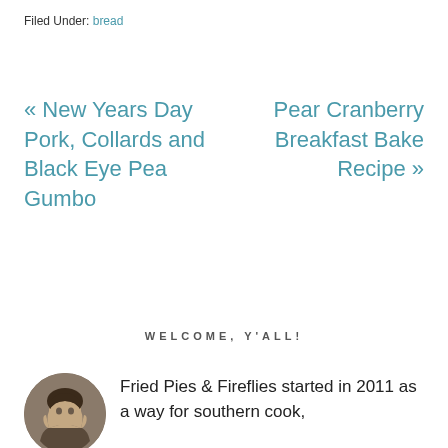Filed Under: bread
« New Years Day Pork, Collards and Black Eye Pea Gumbo
Pear Cranberry Breakfast Bake Recipe »
WELCOME, Y'ALL!
Fried Pies & Fireflies started in 2011 as a way for southern cook,